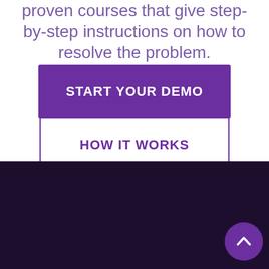proven courses that give step-by-step instructions on how to resolve the problem.
[Figure (other): Purple 'START YOUR DEMO' call-to-action button]
[Figure (other): White 'HOW IT WORKS' outlined button with purple border]
Increasing your practice profits and valuation has never been